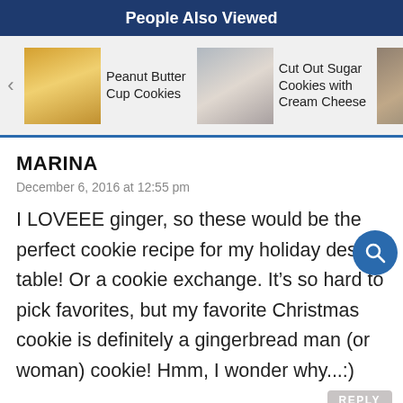People Also Viewed
[Figure (screenshot): Carousel of recipe links: Peanut Butter Cup Cookies, Cut Out Sugar Cookies with Cream Cheese, Oatmeal Cho... Cooki...]
MARINA
December 6, 2016 at 12:55 pm
I LOVEEE ginger, so these would be the perfect cookie recipe for my holiday desse table! Or a cookie exchange. It’s so hard to pick favorites, but my favorite Christmas cookie is definitely a gingerbread man (or woman) cookie! Hmm, I wonder why...:)
JENNIFER @ SHOW ME THE YUMMY